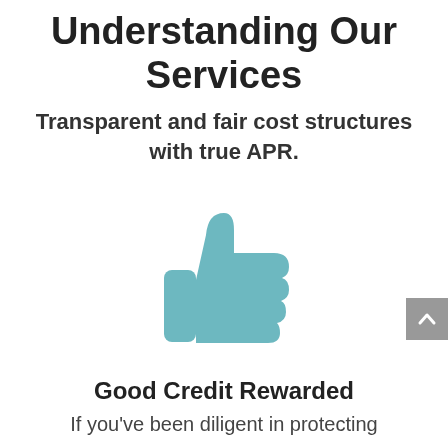Understanding Our Services
Transparent and fair cost structures with true APR.
[Figure (illustration): A large teal/muted-blue thumbs-up icon centered on the page]
Good Credit Rewarded
If you've been diligent in protecting